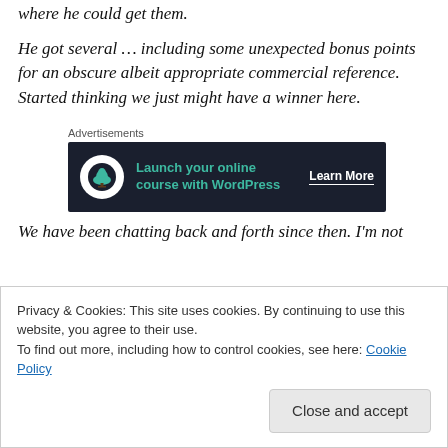continued in an equally wily way looking for bonus points where he could get them.
He got several … including some unexpected bonus points for an obscure albeit appropriate commercial reference. Started thinking we just might have a winner here.
Advertisements
[Figure (infographic): Dark banner advertisement reading 'Launch your online course with WordPress' with a bonsai tree icon and 'Learn More' call to action button.]
We have been chatting back and forth since then. I'm not
Privacy & Cookies: This site uses cookies. By continuing to use this website, you agree to their use.
To find out more, including how to control cookies, see here: Cookie Policy
Close and accept